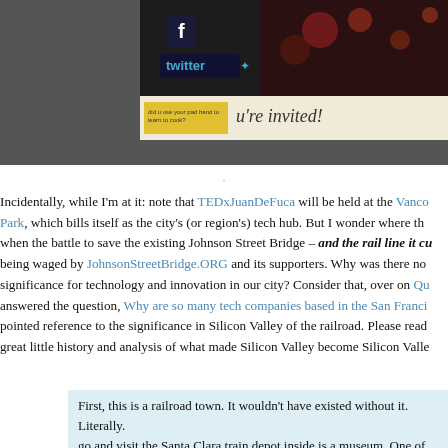[Figure (photo): A bulletin board or wall display showing social media logos (Facebook, Twitter) and an invitation flyer reading 'u're invited!']
Incidentally, while I'm at it: note that TEDxJuanDeFuca will be held at the Vanco Park, which bills itself as the city's (or region's) tech hub. But I wonder where the when the battle to save the existing Johnson Street Bridge – and the rail line it cu being waged by JohnsonStreetBridge.ORG and its supporters. Why was there no significance for technology and innovation in our city? Consider that, over on Qu answered the question, Why are so many tech companies based in the San Franci pointed reference to the significance in Silicon Valley of the railroad. Please read great little history and analysis of what made Silicon Valley become Silicon Valle
First, this is a railroad town. It wouldn't have existed without it. Literally. go and visit the Santa Clara train depot inside is a museum. One of the ph